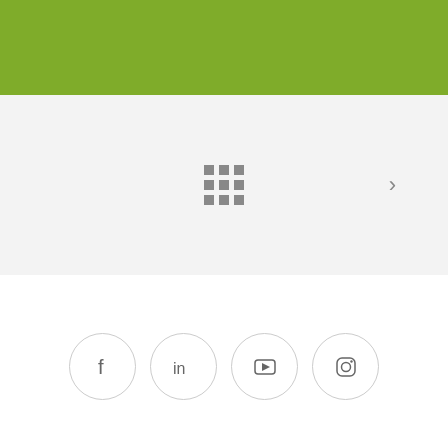[Figure (other): Green header bar at top of page]
[Figure (other): Gray section with 3x3 grid icon and right arrow chevron]
[Figure (other): Social media icons: Facebook, LinkedIn, YouTube, Instagram in circular borders]
© 2022 Happylands.
[Figure (other): Red circular share button with share icon]